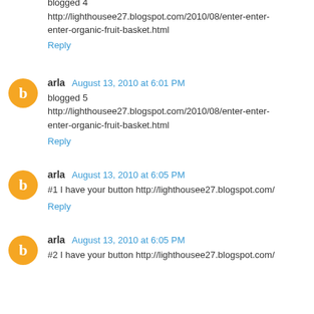blogged 4
http://lighthousee27.blogspot.com/2010/08/enter-enter-enter-organic-fruit-basket.html
Reply
arla  August 13, 2010 at 6:01 PM
blogged 5
http://lighthousee27.blogspot.com/2010/08/enter-enter-enter-organic-fruit-basket.html
Reply
arla  August 13, 2010 at 6:05 PM
#1 I have your button http://lighthousee27.blogspot.com/
Reply
arla  August 13, 2010 at 6:05 PM
#2 I have your button http://lighthousee27.blogspot.com/